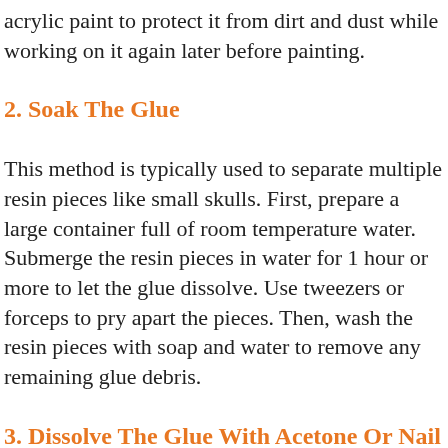acrylic paint to protect it from dirt and dust while working on it again later before painting.
2. Soak The Glue
This method is typically used to separate multiple resin pieces like small skulls. First, prepare a large container full of room temperature water. Submerge the resin pieces in water for 1 hour or more to let the glue dissolve. Use tweezers or forceps to pry apart the pieces. Then, wash the resin pieces with soap and water to remove any remaining glue debris.
3. Dissolve The Glue With Acetone Or Nail